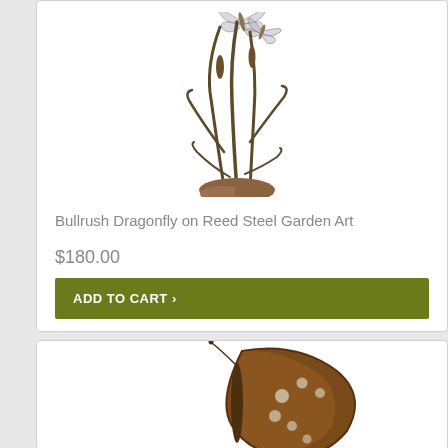[Figure (illustration): Metal steel garden art sculpture of bullrush reeds with dragonfly on top, brownish color on white background]
Bullrush Dragonfly on Reed Steel Garden Art
$180.00
ADD TO CART >
[Figure (illustration): Partial view of a brown butterfly wing with white spots, cut off at bottom of page]